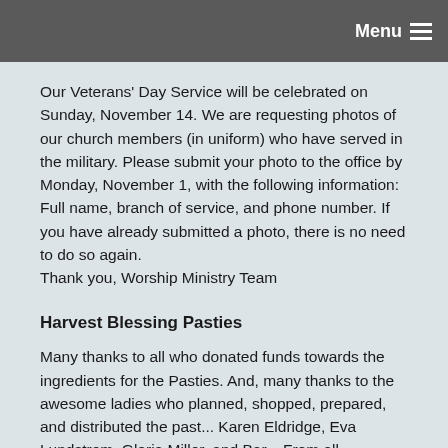Menu
Our Veterans' Day Service will be celebrated on Sunday, November 14. We are requesting photos of our church members (in uniform) who have served in the military. Please submit your photo to the office by Monday, November 1, with the following information: Full name, branch of service, and phone number. If you have already submitted a photo, there is no need to do so again.
Thank you, Worship Ministry Team
Harvest Blessing Pasties
Many thanks to all who donated funds towards the ingredients for the Pasties. And, many thanks to the awesome ladies who planned, shopped, prepared, and distributed the past... Karen Eldridge, Eva Lundstrom, Gloria Miller, and Bar... From all indications, it was a successful event! – Jan Kreidler